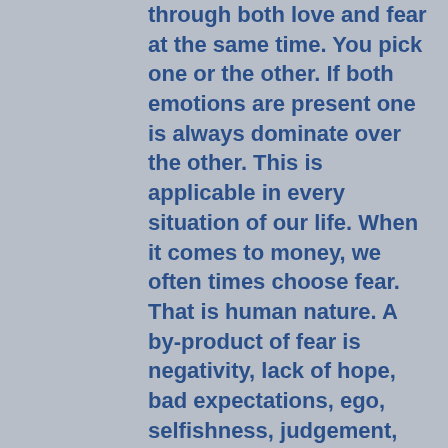through both love and fear at the same time. You pick one or the other. If both emotions are present one is always dominate over the other. This is applicable in every situation of our life. When it comes to money, we often times choose fear. That is human nature. A by-product of fear is negativity, lack of hope, bad expectations, ego, selfishness, judgement, etc. The by-product of love is God, Faith, Positivity, Stewardship, Selflessness, Kindness, etc.
It is our choice in any given moment to interpret and process what is happening throug...